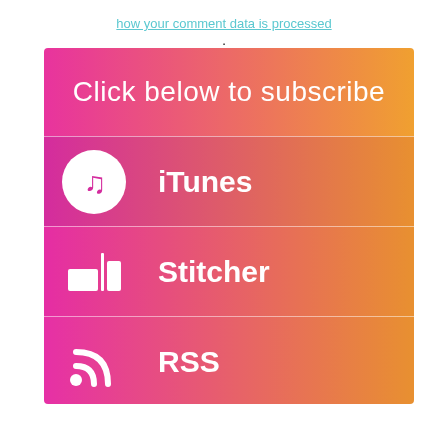how your comment data is processed.
[Figure (infographic): Subscribe banner with gradient background (pink to orange) showing three clickable rows: iTunes, Stitcher, and RSS, each with an icon and bold white label text. Header says 'Click below to subscribe'.]